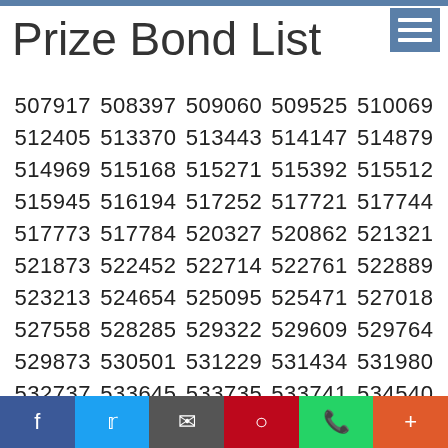Prize Bond List
| 507917 | 508397 | 509060 | 509525 | 510069 |
| 512405 | 513370 | 513443 | 514147 | 514879 |
| 514969 | 515168 | 515271 | 515392 | 515512 |
| 515945 | 516194 | 517252 | 517721 | 517744 |
| 517773 | 517784 | 520327 | 520862 | 521321 |
| 521873 | 522452 | 522714 | 522761 | 522889 |
| 523213 | 524654 | 525095 | 525471 | 527018 |
| 527558 | 528285 | 529322 | 529609 | 529764 |
| 529873 | 530501 | 531229 | 531434 | 531980 |
| 532737 | 533645 | 533735 | 533741 | 534540 |
| 536353 | 537146 | 537256 | 539381 | 539672 |
| 541045 | 541097 | 541346 | 541348 | 541623 |
| 542201 | 542655 | 543692 | 543953 | 544447 |
| 544856 | 545395 | 545506 | 545928 | 546151 |
f  t  email  p  whatsapp  +